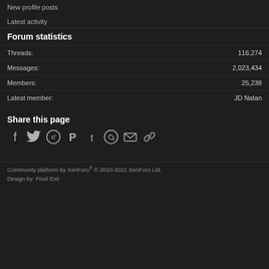New profile posts
Latest activity
Forum statistics
|  |  |
| --- | --- |
| Threads: | 116,274 |
| Messages: | 2,023,434 |
| Members: | 25,238 |
| Latest member: | JD Natan |
Share this page
[Figure (infographic): Social sharing icons: Facebook, Twitter, Reddit, Pinterest, Tumblr, WhatsApp, Email, Link]
Community platform by XenForo® © 2010-2021 XenForo Ltd.
Design by: Pixel Exit